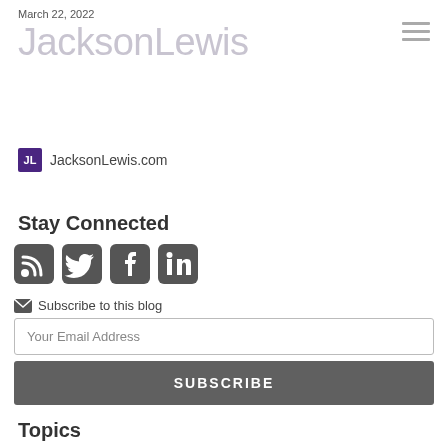March 22, 2022
JacksonLewis
JacksonLewis.com
Stay Connected
[Figure (other): Social media icons: RSS feed, Twitter, Facebook, LinkedIn]
Subscribe to this blog
Your Email Address
SUBSCRIBE
Topics